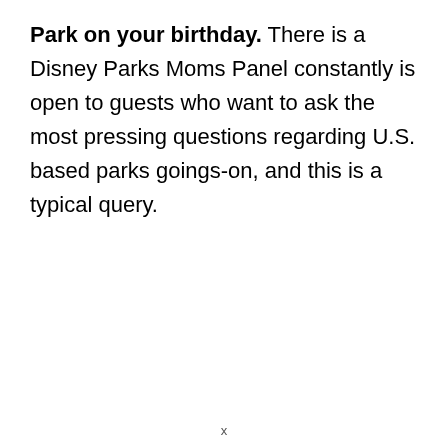Park on your birthday. There is a Disney Parks Moms Panel constantly is open to guests who want to ask the most pressing questions regarding U.S. based parks goings-on, and this is a typical query.
x